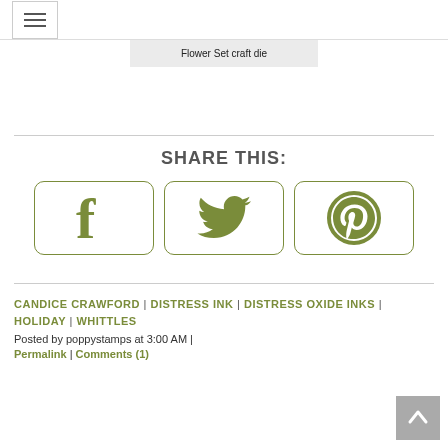Navigation menu button
Flower Set craft die
[Figure (infographic): Share This section with three social media buttons: Facebook, Twitter, Pinterest]
CANDICE CRAWFORD | DISTRESS INK | DISTRESS OXIDE INKS | HOLIDAY | WHITTLES
Posted by poppystamps at 3:00 AM |
Permalink | Comments (1)